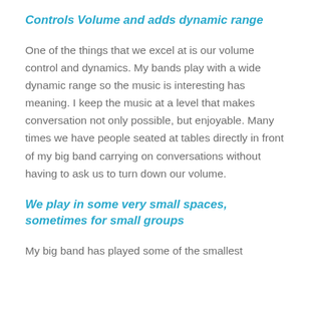Controls Volume and adds dynamic range
One of the things that we excel at is our volume control and dynamics. My bands play with a wide dynamic range so the music is interesting has meaning. I keep the music at a level that makes conversation not only possible, but enjoyable. Many times we have people seated at tables directly in front of my big band carrying on conversations without having to ask us to turn down our volume.
We play in some very small spaces, sometimes for small groups
My big band has played some of the smallest